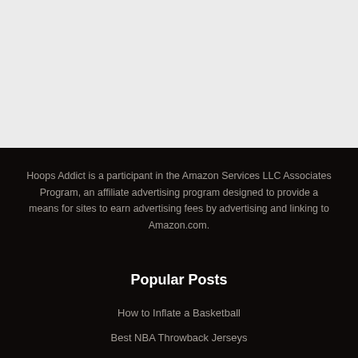[Figure (other): Light gray blank area at top of page]
Hoops Addict is a participant in the Amazon Services LLC Associates Program, an affiliate advertising program designed to provide a means for sites to earn advertising fees by advertising and linking to Amazon.com.
Popular Posts
How to Inflate a Basketball
Best NBA Throwback Jerseys